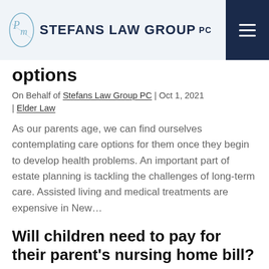[Figure (logo): Stefans Law Group PC logo with stylized PM monogram icon and firm name in dark navy text]
options
On Behalf of Stefans Law Group PC | Oct 1, 2021 | Elder Law
As our parents age, we can find ourselves contemplating care options for them once they begin to develop health problems. An important part of estate planning is tackling the challenges of long-term care. Assisted living and medical treatments are expensive in New…
Will children need to pay for their parent's nursing home bill?
On Behalf of Stefans Law Group PC | Apr 8, 2021